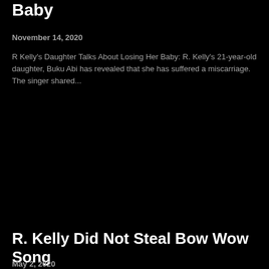Baby
November 14, 2020
R Kelly's Daughter Talks About Losing Her Baby: R. Kelly's 21-year-old daughter, Buku Abi has revealed that she has suffered a miscarriage. The singer shared...
R. Kelly Did Not Steal Bow Wow Song
May 2, 2020